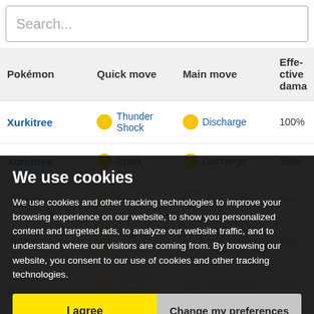Search...
| Pokémon | Quick move | Main move | Effective damage |
| --- | --- | --- | --- |
| Xurkitree | Thunder Shock | Discharge | 100% |
| Xurkitree | Spark | Discharge | 98% |
| [Xurkitree] | Spark | Power Whip | 96% |
| [Xurkitree] | Thunder Shock | Power Whip | 96% |
| Thundurus (Therian) | Thunder Shock | Thunderbolt | 93% |
| Xurkitree | Spark | Thunder | 92% |
| Thundurus (Therian) | Volt Switch | Thunderbolt | 91% |
We use cookies
We use cookies and other tracking technologies to improve your browsing experience on our website, to show you personalized content and targeted ads, to analyze our website traffic, and to understand where our visitors are coming from. By browsing our website, you consent to our use of cookies and other tracking technologies.
I agree
Change my preferences